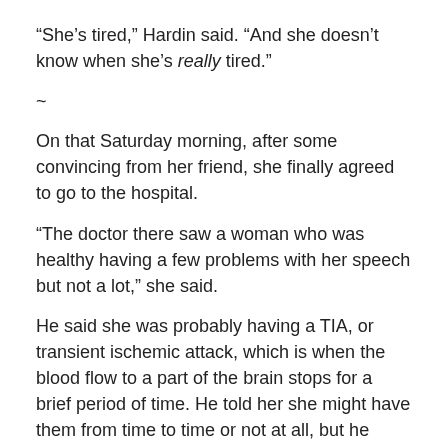“She’s tired,” Hardin said. “And she doesn’t know when she’s really tired.”
~
On that Saturday morning, after some convincing from her friend, she finally agreed to go to the hospital.
“The doctor there saw a woman who was healthy having a few problems with her speech but not a lot,” she said.
He said she was probably having a TIA, or transient ischemic attack, which is when the blood flow to a part of the brain stops for a brief period of time. He told her she might have them from time to time or not at all, but he wanted her to stay overnight.
Then he called a doctor in neurology, who said she